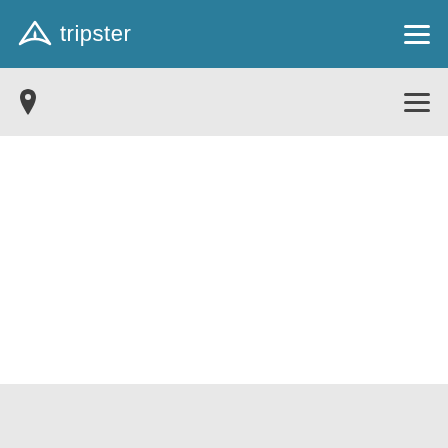tripster
[Figure (screenshot): Tripster travel website screenshot showing a teal navigation bar with the Tripster logo (triangle arrow icon and wordmark) on the left and a hamburger menu icon on the right. Below is a light gray sub-navigation bar with a location pin icon on the left and a hamburger menu icon on the right. The main content area is white and empty. A gray footer bar appears at the bottom.]